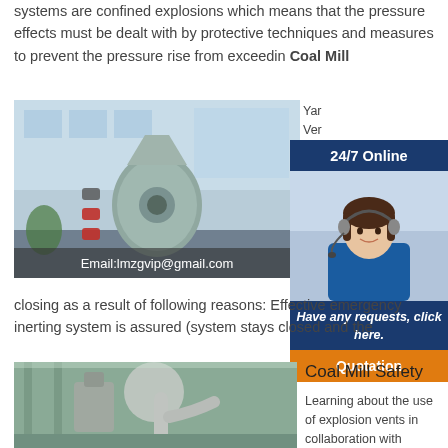systems are confined explosions which means that the pressure effects must be dealt with by protective techniques and measures to prevent the pressure rise from exceedin Coal Mill
[Figure (photo): Industrial coal mill machinery inside a factory building with email overlay text 'Email:lmzgvip@gmail.com']
Yar... Ver... Suc... 2017 Exp... coal... hav...
[Figure (infographic): 24/7 Online customer service sidebar with agent photo, 'Have any requests, click here.' text and Quotation button]
closing as a result of following reasons: Effective emergency inerting system is assured (system stays closed and the
[Figure (photo): Factory with industrial piping and dust collection equipment]
Coal Mill Safety
Learning about the use of explosion vents in collaboration with